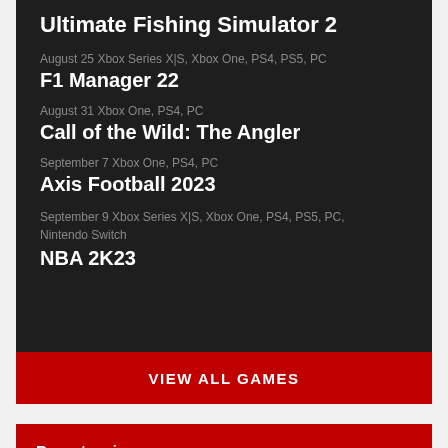Ultimate Fishing Simulator 2
August 25 Xbox Series X|S, Xbox One, PS4, PS5, PC
F1 Manager 22
August 31 Xbox One, PS4, PC
Call of the Wild: The Angler
September 7 Xbox One, PS4, PC
Axis Football 2023
September 9 Xbox Series X|S, Xbox One, PS4, PS5, PC, Nintendo Switch
NBA 2K23
VIEW ALL GAMES
Recent reviews